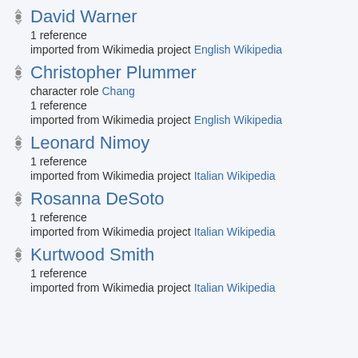David Warner
1 reference
imported from Wikimedia project English Wikipedia
Christopher Plummer
character role Chang
1 reference
imported from Wikimedia project English Wikipedia
Leonard Nimoy
1 reference
imported from Wikimedia project Italian Wikipedia
Rosanna DeSoto
1 reference
imported from Wikimedia project Italian Wikipedia
Kurtwood Smith
1 reference
imported from Wikimedia project Italian Wikipedia